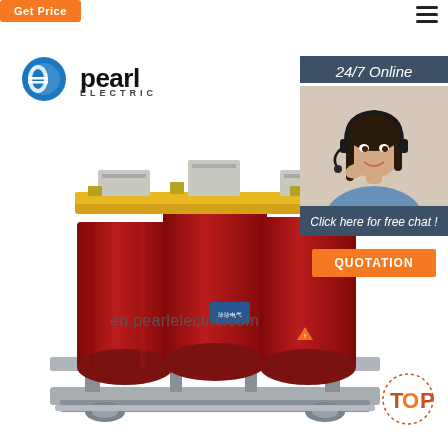Get Price
[Figure (logo): Pearl Electric company logo with blue globe icon and company name]
[Figure (photo): Three-phase dry-type transformer with red cylindrical coils and yellow top beam on a silver base frame]
en.pearlelectric.com
24/7 Online
[Figure (photo): Customer service agent woman with headset smiling]
Click here for free chat !
QUOTATION
TOP